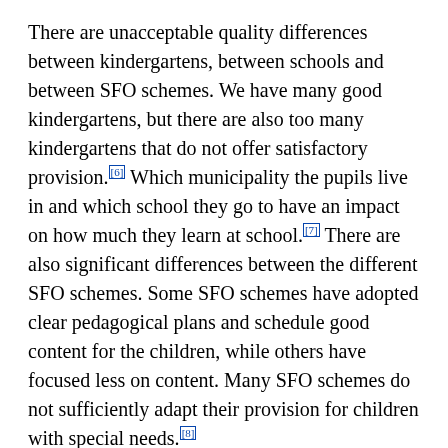There are unacceptable quality differences between kindergartens, between schools and between SFO schemes. We have many good kindergartens, but there are also too many kindergartens that do not offer satisfactory provision.[6] Which municipality the pupils live in and which school they go to have an impact on how much they learn at school.[7] There are also significant differences between the different SFO schemes. Some SFO schemes have adopted clear pedagogical plans and schedule good content for the children, while others have focused less on content. Many SFO schemes do not sufficiently adapt their provision for children with special needs.[8]
Too many pupils in compulsory education have low attendance, and for many of them this trend continues when they start upper secondary education or training.[9] Some also develop school refusal. Low attendance can have major consequences for the pupils concerned,